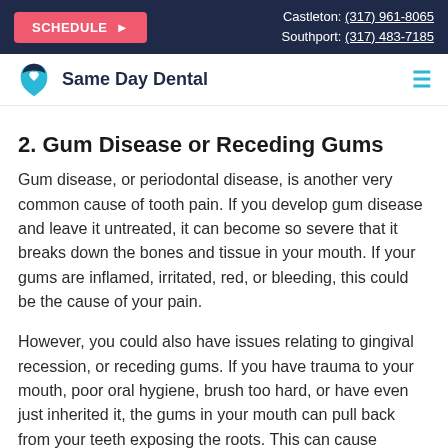SCHEDULE ▶ | Castleton: (317) 961-8065 | Southport: (317) 483-7185
[Figure (logo): Same Day Dental logo with teal tooth icon and heart, alongside hamburger menu icon]
2. Gum Disease or Receding Gums
Gum disease, or periodontal disease, is another very common cause of tooth pain. If you develop gum disease and leave it untreated, it can become so severe that it breaks down the bones and tissue in your mouth. If your gums are inflamed, irritated, red, or bleeding, this could be the cause of your pain.
However, you could also have issues relating to gingival recession, or receding gums. If you have trauma to your mouth, poor oral hygiene, brush too hard, or have even just inherited it, the gums in your mouth can pull back from your teeth exposing the roots. This can cause sensitivity and